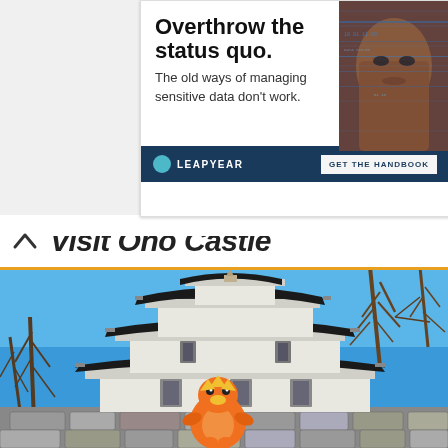[Figure (screenshot): Advertisement banner: 'Overthrow the status quo. The old ways of managing sensitive data don't work.' with Leapyear branding and a woman's face with digital overlay. Dark blue bottom bar with LEAPYEAR logo and GET THE HANDBOOK button.]
Visit Ono Castle
[Figure (photo): Photo of Ono Castle, a multi-tiered traditional Japanese white castle against a clear blue sky, with bare trees visible on the right. In the foreground, a small orange Torchic (Pokemon) toy figure sits on a stone wall.]